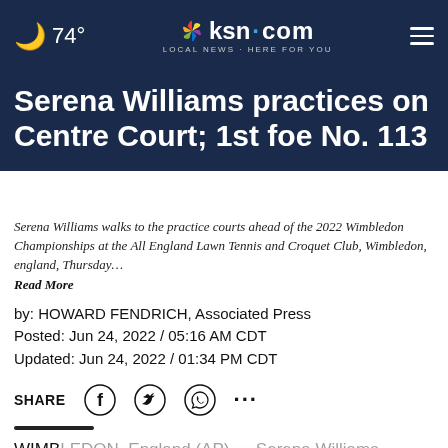74° ksn.com LOCAL NEWS · HERE FOR YOU
Serena Williams practices on Centre Court; 1st foe No. 113
Serena Williams walks to the practice courts ahead of the 2022 Wimbledon Championships at the All England Lawn Tennis and Croquet Club, Wimbledon, england, Thursday… Read More
by: HOWARD FENDRICH, Associated Press
Posted: Jun 24, 2022 / 05:16 AM CDT
Updated: Jun 24, 2022 / 01:34 PM CDT
SHARE
WIMB... alked out on Centre Court under a closed retractable roof